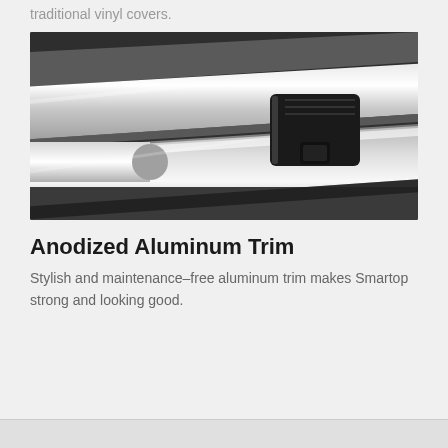traditional vinyl covers.
[Figure (photo): Close-up photograph of anodized aluminum trim pieces with black hardware fasteners, showing polished silver aluminum profiles and a black knob or clamp component.]
Anodized Aluminum Trim
Stylish and maintenance–free aluminum trim makes Smartop strong and looking good.